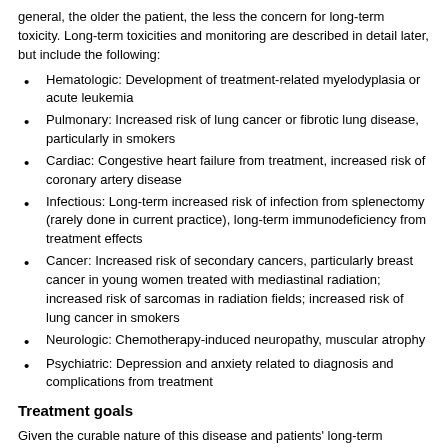general, the older the patient, the less the concern for long-term toxicity. Long-term toxicities and monitoring are described in detail later, but include the following:
Hematologic: Development of treatment-related myelodyplasia or acute leukemia
Pulmonary: Increased risk of lung cancer or fibrotic lung disease, particularly in smokers
Cardiac: Congestive heart failure from treatment, increased risk of coronary artery disease
Infectious: Long-term increased risk of infection from splenectomy (rarely done in current practice), long-term immunodeficiency from treatment effects
Cancer: Increased risk of secondary cancers, particularly breast cancer in young women treated with mediastinal radiation; increased risk of sarcomas in radiation fields; increased risk of lung cancer in smokers
Neurologic: Chemotherapy-induced neuropathy, muscular atrophy
Psychiatric: Depression and anxiety related to diagnosis and complications from treatment
Treatment goals
Given the curable nature of this disease and patients' long-term survival, goals for treatment are the following:
Maximize cure for all stages
Minimize both short-term and long-term complications, assuming this does not have an impact on cure
Weigh the risks of toxicity (eg, elderly patients might not tolerate certain toxicities as well as younger patients during their course of…